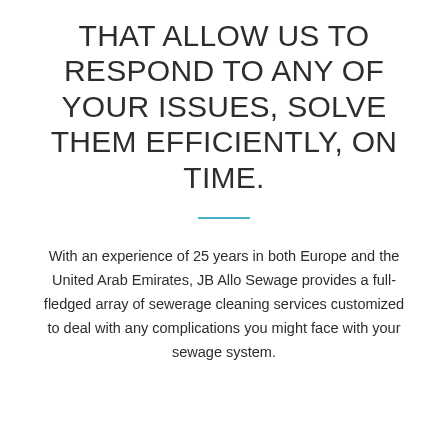THAT ALLOW US TO RESPOND TO ANY OF YOUR ISSUES, SOLVE THEM EFFICIENTLY, ON TIME.
With an experience of 25 years in both Europe and the United Arab Emirates, JB Allo Sewage provides a full-fledged array of sewerage cleaning services customized to deal with any complications you might face with your sewage system.